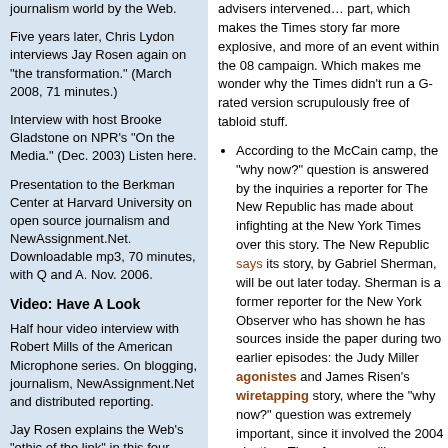journalism world by the Web.
Five years later, Chris Lydon interviews Jay Rosen again on "the transformation." (March 2008, 71 minutes.)
Interview with host Brooke Gladstone on NPR's "On the Media." (Dec. 2003) Listen here.
Presentation to the Berkman Center at Harvard University on open source journalism and NewAssignment.Net. Downloadable mp3, 70 minutes, with Q and A. Nov. 2006.
Video: Have A Look
Half hour video interview with Robert Mills of the American Microphone series. On blogging, journalism, NewAssignment.Net and distributed reporting.
Jay Rosen explains the Web's "ethic of the link" in this four-minute YouTube clip.
"The Web is people." Jay Rosen speaking on the origins of the World Wide Web. (2:38)
One hour video Q & A on why the press is "between business models" (June 2008)
Recommended by PressThink:
Town square for press critics, industry observers, and participants in the news machine: Romenesko, published by the Poynter Institute.
advisers intervened... part, which makes the Times story far more explosive, and more of an event within the 08 campaign. Which makes me wonder why the Times didn't run a G-rated version scrupulously free of tabloid stuff.
According to the McCain camp, the “why now?” question is answered by the inquiries a reporter for The New Republic has made about infighting at the New York Times over this story. The New Republic says its story, by Gabriel Sherman, will be out later today. Sherman is a former reporter for the New York Observer who has shown he has sources inside the paper during two earlier episodes: the Judy Miller agonistes and James Risen’s wiretapping story, where the “why now?” question was extremely important, since it involved the 2004 election. Therefore we will soon know a lot more about the struggles over this story, which must have been intense.